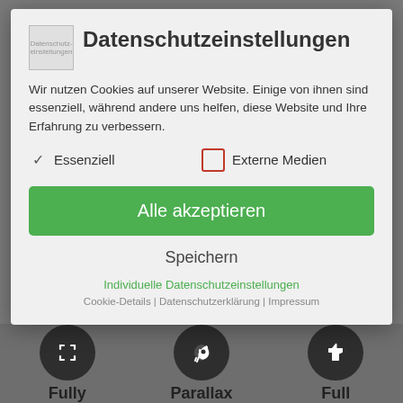[Figure (screenshot): Cookie consent modal dialog on a German website with title 'Datenschutzeinstellungen', body text about cookies, checkboxes for 'Essenziell' (checked) and 'Externe Medien' (unchecked), a green 'Alle akzeptieren' button, a 'Speichern' button, and links for individual settings]
Datenschutzeinstellungen
Wir nutzen Cookies auf unserer Website. Einige von ihnen sind essenziell, während andere uns helfen, diese Website und Ihre Erfahrung zu verbessern.
✓ Essenziell
☐ Externe Medien
Alle akzeptieren
Speichern
Individuelle Datenschutzeinstellungen
Cookie-Details | Datenschutzerklärung | Impressum
Fully
Parallax
Full